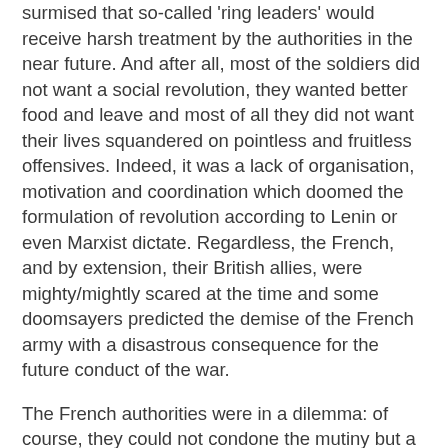surmised that so-called 'ring leaders' would receive harsh treatment by the authorities in the near future. And after all, most of the soldiers did not want a social revolution, they wanted better food and leave and most of all they did not want their lives squandered on pointless and fruitless offensives. Indeed, it was a lack of organisation, motivation and coordination which doomed the formulation of revolution according to Lenin or even Marxist dictate. Regardless, the French, and by extension, their British allies, were mighty/mightly scared at the time and some doomsayers predicted the demise of the French army with a disastrous consequence for the future conduct of the war.
The French authorities were in a dilemma: of course, they could not condone the mutiny but a heavy hand would have made the situation worse and so they acted according to prudence. On the positive side, food rations were improved together with the promise of leave. Petain assured the soldiers that there would be no further offensives for the rest of 1917. It is estimated that 50 French soldiers were executed although this may have been an underestimate as records of the period were understandably suppressed. The judicious use of the 'carrot and the stick' worked and the